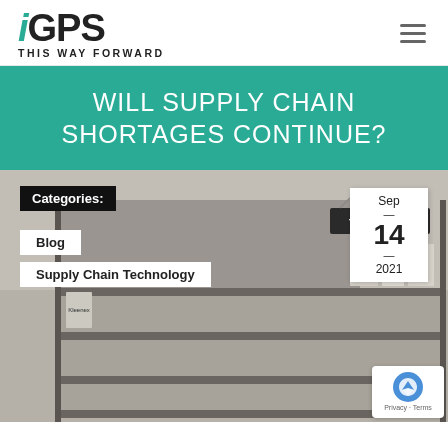[Figure (logo): iGPS logo with teal italic 'i' and bold 'GPS' text, tagline THIS WAY FORWARD]
WILL SUPPLY CHAIN SHORTAGES CONTINUE?
[Figure (photo): Empty store shelves in the toilet paper aisle, with a Toilet Paper sign hanging above nearly bare pegboard shelving. White date box in top right showing Sep — 14 — 2021. Black Categories label box in top left with white Blog and Supply Chain Technology tags below it. reCAPTCHA badge in bottom right corner showing Privacy · Terms.]
Sep — 14 — 2021
Categories:
Blog
Supply Chain Technology